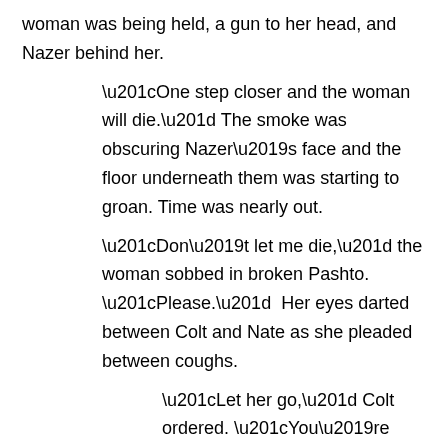woman was being held, a gun to her head, and Nazer behind her. “One step closer and the woman will die.” The smoke was obscuring Nazer’s face and the floor underneath them was starting to groan. Time was nearly out. “Don’t let me die,” the woman sobbed in broken Pashto. “Please.”  Her eyes darted between Colt and Nate as she pleaded between coughs. “Let her go,” Colt ordered. “You’re coming with me.”  He tried to catch Nate’s eye. Did he have a shot? Could they risk taking Nazer down with a hostage in front of him? “Not interested in a deal?” Nazer crouched a little lower and looked out the window.